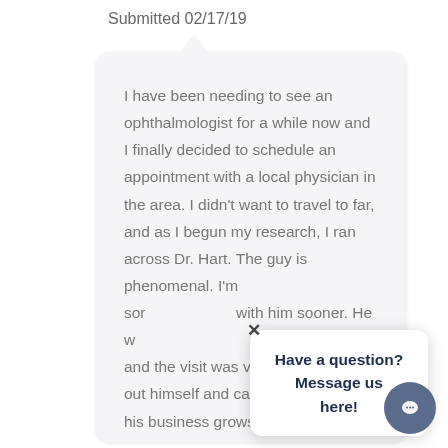Submitted 02/17/19
I have been needing to see an ophthalmologist for a while now and I finally decided to schedule an appointment with a local physician in the area. I didn't want to travel to far, and as I begun my research, I ran across Dr. Hart. The guy is phenomenal. I'm sor with him sooner. He w and the visit was very p out himself and called his business grows, I expect him to have some young tech call me by name and escort me to the chair. Until that happens, my visit with Dr. Hart will always feel like I
Have a question? Message us here!